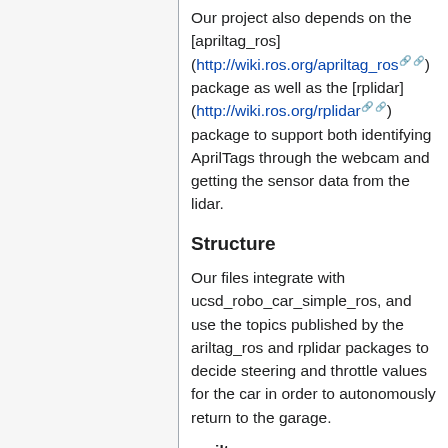Our project also depends on the [apriltag_ros] (http://wiki.ros.org/apriltag_ros) package as well as the [rplidar] (http://wiki.ros.org/rplidar) package to support both identifying AprilTags through the webcam and getting the sensor data from the lidar.
Structure
Our files integrate with ucsd_robo_car_simple_ros, and use the topics published by the arltag_ros and rplidar packages to decide steering and throttle values for the car in order to autonomously return to the garage.
apriltag_ros
This package uses the topics published by the two scripts found in